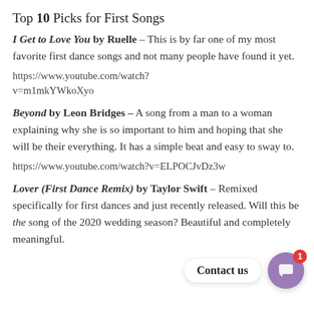Top 10 Picks for First Songs
I Get to Love You by Ruelle – This is by far one of my most favorite first dance songs and not many people have found it yet.
https://www.youtube.com/watch?v=m1mkYWkoXyo
Beyond by Leon Bridges – A song from a man to a woman explaining why she is so important to him and hoping that she will be their everything. It has a simple beat and easy to sway to.
https://www.youtube.com/watch?v=ELPOCJvDz3w
Lover (First Dance Remix) by Taylor Swift – Remixed specifically for first dances and just recently released. Will this be the song of the 2020 wedding season? Beautiful and completely meaningful.